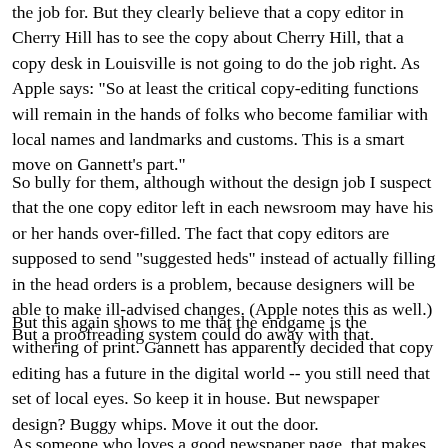the job for. But they clearly believe that a copy editor in Cherry Hill has to see the copy about Cherry Hill, that a copy desk in Louisville is not going to do the job right. As Apple says: "So at least the critical copy-editing functions will remain in the hands of folks who become familiar with local names and landmarks and customs. This is a smart move on Gannett's part."
So bully for them, although without the design job I suspect that the one copy editor left in each newsroom may have his or her hands over-filled. The fact that copy editors are supposed to send "suggested heds" instead of actually filling in the head orders is a problem, because designers will be able to make ill-advised changes. (Apple notes this as well.) But a proofreading system could do away with that.
But this again shows to me that the endgame is the withering of print. Gannett has apparently decided that copy editing has a future in the digital world -- you still need that set of local eyes. So keep it in house. But newspaper design? Buggy whips. Move it out the door.
As someone who loves a good newspaper page, that makes